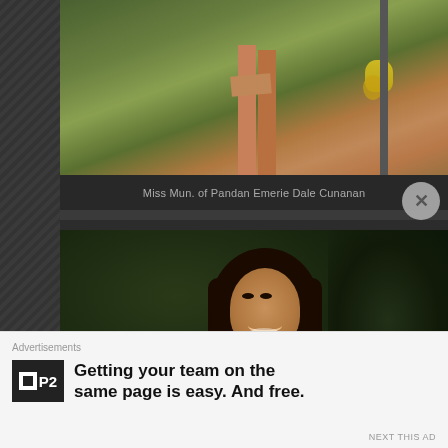[Figure (photo): Photo of Miss Mun. of Pandan Emerie Dale Cunanan – lower body/legs visible, outdoor background with foliage and a pole]
Miss Mun. of Pandan Emerie Dale Cunanan
[Figure (photo): Portrait photo of a smiling woman with long dark hair against a dark outdoor background]
Advertisements
Getting your team on the same page is easy. And free.